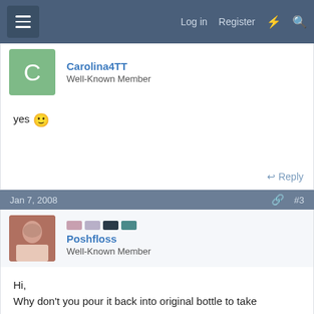Log in   Register
Carolina4TT
Well-Known Member
yes 🙂
Reply
Jan 7, 2008  #3
Poshfloss
Well-Known Member
Hi,
Why don't you pour it back into original bottle to take
This site uses cookies to help personalise content, tailor your experience and to
Report Ad